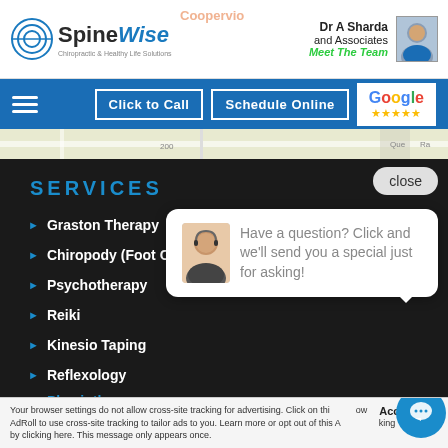[Figure (screenshot): SpineWise chiropractic clinic website screenshot showing logo, navigation bar with Click to Call and Schedule Online buttons, Google rating, services list sidebar, and a chat popup widget]
Your browser settings do not allow cross-site tracking for advertising. Click on this to allow AdRoll to use cross-site tracking to tailor ads to you. Learn more or opt out of this AdRoll tracking by clicking here. This message only appears once.